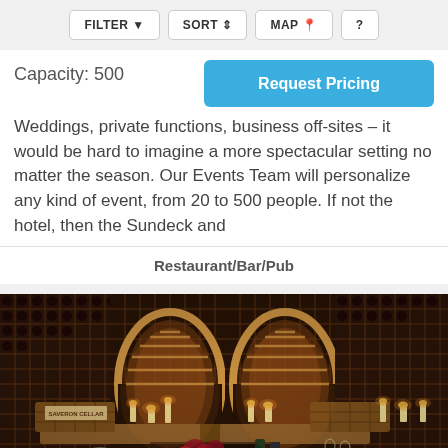FILTER  SORT  MAP  ?
Capacity: 500
Request Pricing
Weddings, private functions, business off-sites – it would be hard to imagine a more spectacular setting no matter the season. Our Events Team will personalize any kind of event, from 20 to 500 people. If not the hotel, then the Sundeck and
Restaurant/Bar/Pub
[Figure (photo): Interior of a wine cellar with wooden wine racks, arched bottle displays, candles on tables, red roses, and dining table setup]